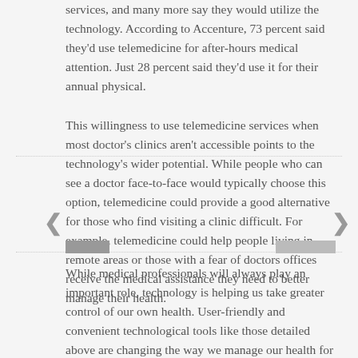services, and many more say they would utilize the technology. According to Accenture, 73 percent said they'd use telemedicine for after-hours medical attention. Just 28 percent said they'd use it for their annual physical.
This willingness to use telemedicine services when most doctor's clinics aren't accessible points to the technology's wider potential. While people who can see a doctor face-to-face would typically choose this option, telemedicine could provide a good alternative for those who find visiting a clinic difficult. For example, telemedicine could help people living in remote areas or those with a fear of doctors offices receive the medical assistance they need to better manage their health.
While medical professionals will always play an important role, technology is helping us take greater control of our own health. User-friendly and convenient technological tools like those detailed above are changing the way we manage our health for the better.